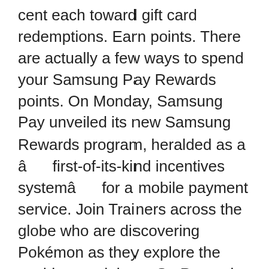cent each toward gift card redemptions. Earn points. There are actually a few ways to spend your Samsung Pay Rewards points. On Monday, Samsung Pay unveiled its new Samsung Rewards program, heralded as a â first-of-its-kind incentives systemâ for a mobile payment service. Join Trainers across the globe who are discovering Pokémon as they explore the world around them. S+ Rewards App Download. This has to be one of the worst examples of UI I've seen. All of them can tilt and swivel, but only the G7 can pivot. Samsung Announces Worldâs First â Do-It-Allâ Monitor for Work, Learning and Entertainment at Home.
Patons Voodoo Yarn Patterns, Digital Image Processing Lecture Notes Ppt, Stihl Parts Manuals, Black Iron Tarkus Shield, Golden Kuhol Philippines, Lavender Tattoos Meaning, Psychiatric Nurse...